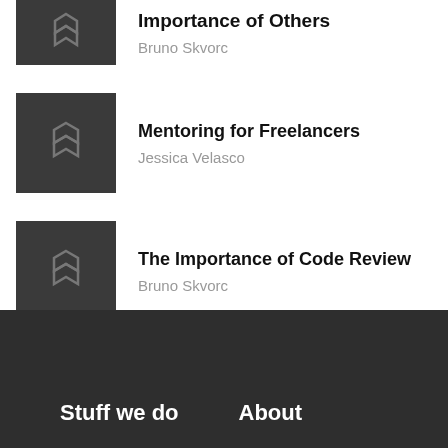Importance of Others — Bruno Skvorc
Mentoring for Freelancers — Jessica Velasco
The Importance of Code Review — Bruno Skvorc
Stuff we do   About